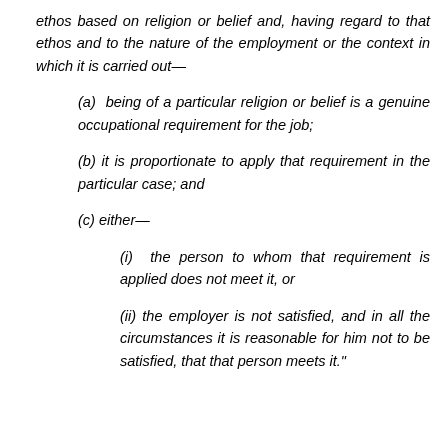ethos based on religion or belief and, having regard to that ethos and to the nature of the employment or the context in which it is carried out—
(a)  being of a particular religion or belief is a genuine occupational requirement for the job;
(b)  it is proportionate to apply that requirement in the particular case; and
(c)  either—
(i)  the person to whom that requirement is applied does not meet it, or
(ii)  the employer is not satisfied, and in all the circumstances it is reasonable for him not to be satisfied, that that person meets it."